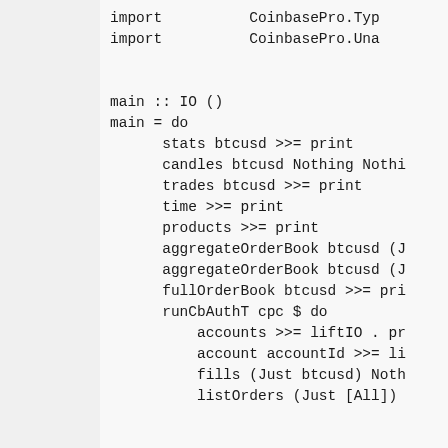import          CoinbasePro.Typ
import          CoinbasePro.Una


main :: IO ()
main = do
      stats btcusd >>= print
      candles btcusd Nothing Nothi
      trades btcusd >>= print
      time >>= print
      products >>= print
      aggregateOrderBook btcusd (J
      aggregateOrderBook btcusd (J
      fullOrderBook btcusd >>= pri
      runCbAuthT cpc $ do
          accounts >>= liftIO . pr
          account accountId >>= li
          fills (Just btcusd) Noth
          listOrders (Just [All])